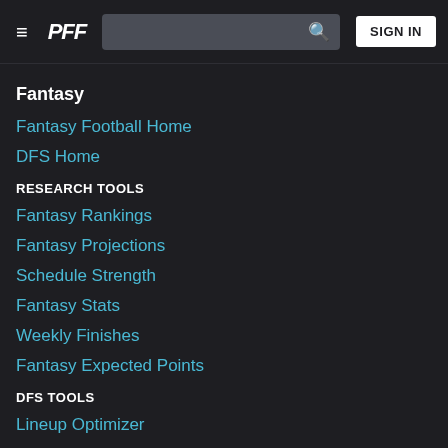PFF | SIGN IN
Fantasy
Fantasy Football Home
DFS Home
RESEARCH TOOLS
Fantasy Rankings
Fantasy Projections
Schedule Strength
Fantasy Stats
Weekly Finishes
Fantasy Expected Points
DFS TOOLS
Lineup Optimizer
Ownership Projections
WEEK 1 TOOLS
Week 1 Fantasy Rankings+